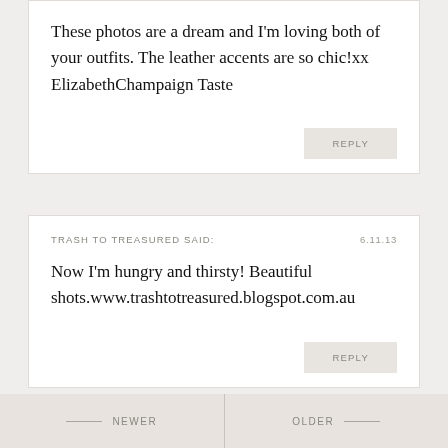These photos are a dream and I'm loving both of your outfits. The leather accents are so chic!xx ElizabethChampaign Taste
REPLY
TRASH TO TREASURED SAID:
6.11.13
Now I'm hungry and thirsty! Beautiful shots.www.trashtotreasured.blogspot.com.au
REPLY
NEWER
OLDER